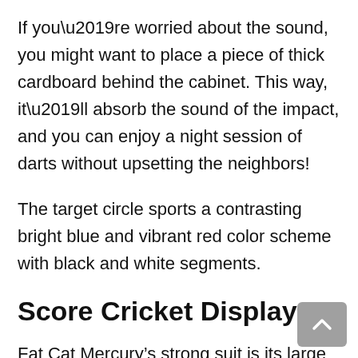If you’re worried about the sound, you might want to place a piece of thick cardboard behind the cabinet. This way, it’ll absorb the sound of the impact, and you can enjoy a night session of darts without upsetting the neighbors!
The target circle sports a contrasting bright blue and vibrant red color scheme with black and white segments.
Score Cricket Display
Fat Cat Mercury’s strong suit is its large automatic digital backlit display on its inner right door.